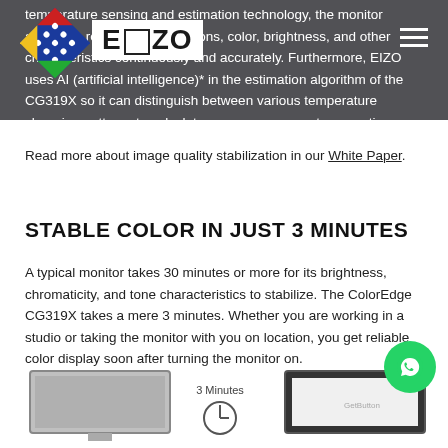[Figure (logo): EIZO logo with diamond-shaped multicolor icon on dark header bar]
temperature sensing and estimation technology, the monitor adjusts in real-time to gradations, color, brightness, and other characteristics continuously and accurately. Furthermore, EIZO uses AI (artificial intelligence)* in the estimation algorithm of the CG319X so it can distinguish between various temperature changing patterns to calculate even more accurate correction. *PATENT PENDING.
Read more about image quality stabilization in our White Paper.
STABLE COLOR IN JUST 3 MINUTES
A typical monitor takes 30 minutes or more for its brightness, chromaticity, and tone characteristics to stabilize. The ColorEdge CG319X takes a mere 3 minutes. Whether you are working in a studio or taking the monitor with you on location, you get reliable color display soon after turning the monitor on.
[Figure (illustration): Illustration showing two monitors side by side with 3 Minutes label and a clock icon]